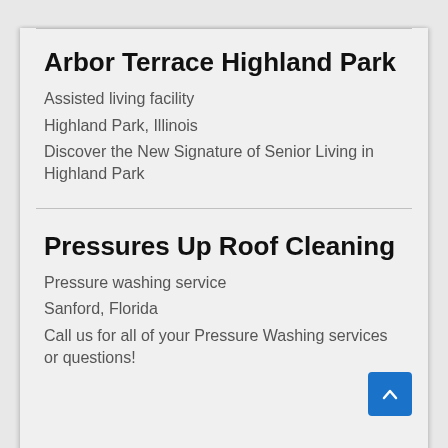Arbor Terrace Highland Park
Assisted living facility
Highland Park, Illinois
Discover the New Signature of Senior Living in Highland Park
Pressures Up Roof Cleaning
Pressure washing service
Sanford, Florida
Call us for all of your Pressure Washing services or questions!